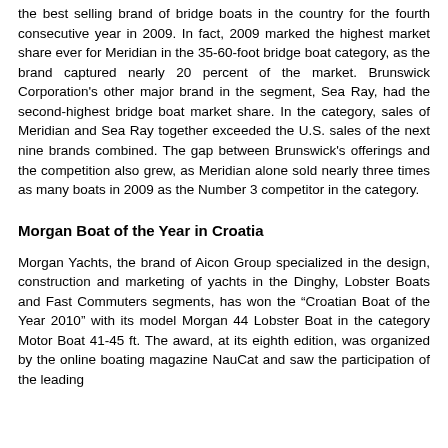the best selling brand of bridge boats in the country for the fourth consecutive year in 2009. In fact, 2009 marked the highest market share ever for Meridian in the 35-60-foot bridge boat category, as the brand captured nearly 20 percent of the market. Brunswick Corporation's other major brand in the segment, Sea Ray, had the second-highest bridge boat market share. In the category, sales of Meridian and Sea Ray together exceeded the U.S. sales of the next nine brands combined. The gap between Brunswick's offerings and the competition also grew, as Meridian alone sold nearly three times as many boats in 2009 as the Number 3 competitor in the category.
Morgan Boat of the Year in Croatia
Morgan Yachts, the brand of Aicon Group specialized in the design, construction and marketing of yachts in the Dinghy, Lobster Boats and Fast Commuters segments, has won the “Croatian Boat of the Year 2010” with its model Morgan 44 Lobster Boat in the category Motor Boat 41-45 ft. The award, at its eighth edition, was organized by the online boating magazine NauCat and saw the participation of the leading